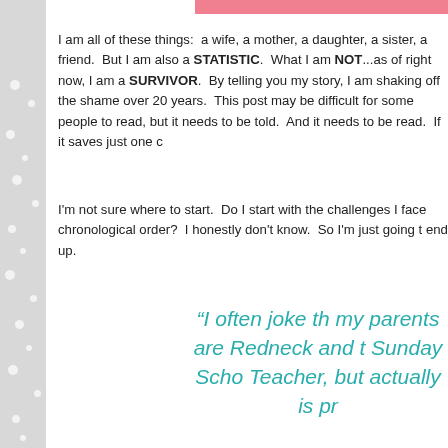I am all of these things:  a wife, a mother, a daughter, a sister, a friend.  But I am also a STATISTIC.  What I am NOT...as of right now, I am a SURVIVOR.  By telling you my story, I am shaking off the shame over 20 years.  This post may be difficult for some people to read, but it needs to be told.  And it needs to be read.  If it saves just one child...
I'm not sure where to start.  Do I start with the challenges I faced, or in chronological order?  I honestly don't know.  So I'm just going to start and see where I end up.
“I often joke that my parents are a Redneck and the Sunday School Teacher, but actually is pr...